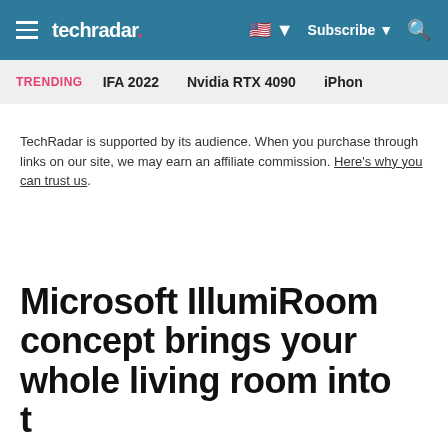techradar | Subscribe | Search
TRENDING  IFA 2022  Nvidia RTX 4090  iPhone
TechRadar is supported by its audience. When you purchase through links on our site, we may earn an affiliate commission. Here's why you can trust us.
Microsoft IllumiRoom concept brings your whole living room into the